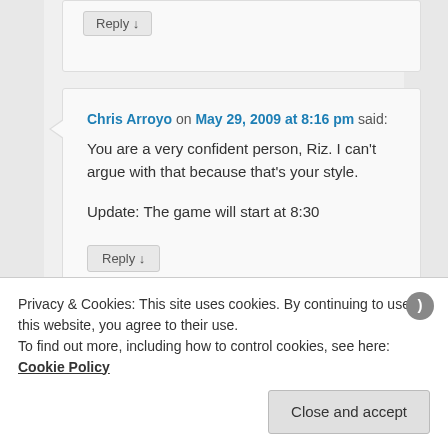Reply ↓
Chris Arroyo on May 29, 2009 at 8:16 pm said:
You are a very confident person, Riz. I can't argue with that because that's your style.

Update: The game will start at 8:30
Reply ↓
Privacy & Cookies: This site uses cookies. By continuing to use this website, you agree to their use.
To find out more, including how to control cookies, see here: Cookie Policy
Close and accept